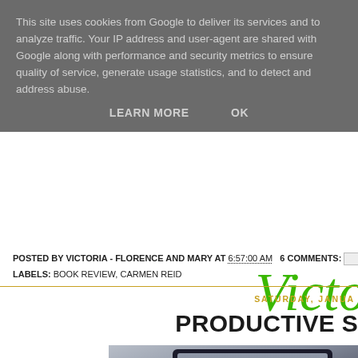This site uses cookies from Google to deliver its services and to analyze traffic. Your IP address and user-agent are shared with Google along with performance and security metrics to ensure quality of service, generate usage statistics, and to detect and address abuse.
LEARN MORE   OK
Victo
POSTED BY VICTORIA - FLORENCE AND MARY AT 6:57:00 AM   6 COMMENTS:
LABELS: BOOK REVIEW, CARMEN REID
SATURDAY, JANUA
PRODUCTIVE S
[Figure (photo): Partial photo of a laptop screen, showing a dark laptop on a gray/blue background, partially visible at the bottom right of the page.]